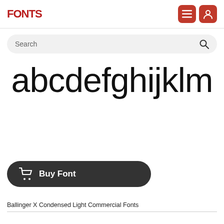FONTS
Search
[Figure (illustration): Font preview showing lowercase letters 'abcdefghijklm' in Ballinger X Condensed Light typeface, displayed in large sans-serif light weight font]
Buy Font
Ballinger X Condensed Light Commercial Fonts